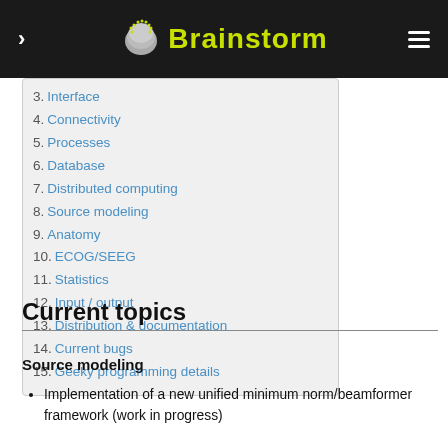Brainstorm
3. Interface
4. Connectivity
5. Processes
6. Database
7. Distributed computing
8. Source modeling
9. Anatomy
10. ECOG/SEEG
11. Statistics
12. Input / output
13. Distribution & documentation
14. Current bugs
15. Geeky programming details
Current topics
Source modeling
Implementation of a new unified minimum norm/beamformer framework (work in progress)